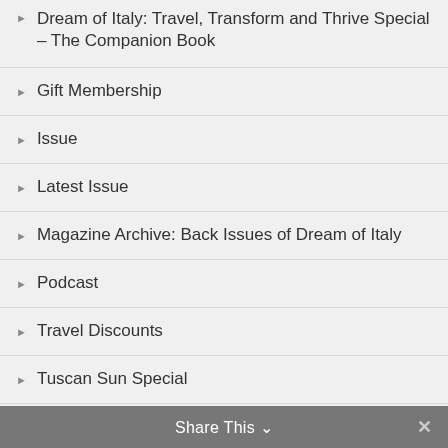Dream of Italy: Travel, Transform and Thrive Special – The Companion Book
Gift Membership
Issue
Latest Issue
Magazine Archive: Back Issues of Dream of Italy
Podcast
Travel Discounts
Tuscan Sun Special
Virtual Workshops
Abruzzo
Amalfi Coast + Naples
Share This ∨  ✕